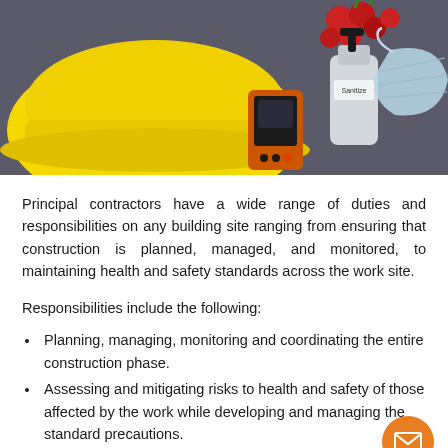[Figure (photo): Construction safety equipment including a yellow hard hat, hand sanitizer bottle, face mask, and an orange/black tool on a grey background with some red fruit/berries visible]
Principal contractors have a wide range of duties and responsibilities on any building site ranging from ensuring that construction is planned, managed, and monitored, to maintaining health and safety standards across the work site.
Responsibilities include the following:
Planning, managing, monitoring and coordinating the entire construction phase.
Assessing and mitigating risks to health and safety of those affected by the work while developing and managing the standard precautions.
Maintain contact with the client and trades throughout